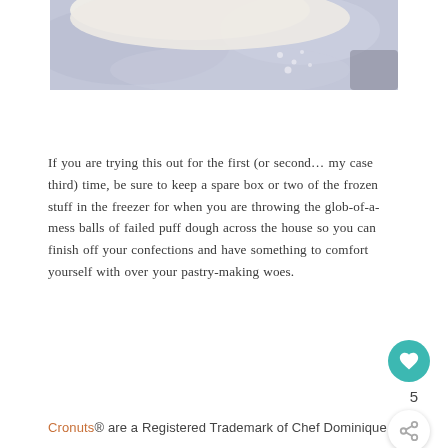[Figure (photo): Close-up photo of raw puff pastry dough on a floured marble/stone surface, showing white dough and flour dusting on a grey-blue background.]
If you are trying this out for the first (or second… my case third) time, be sure to keep a spare box or two of the frozen stuff in the freezer for when you are throwing the glob-of-a-mess balls of failed puff dough across the house so you can finish off your confections and have something to comfort yourself with over your pastry-making woes.
Cronuts® are a Registered Trademark of Chef Dominique